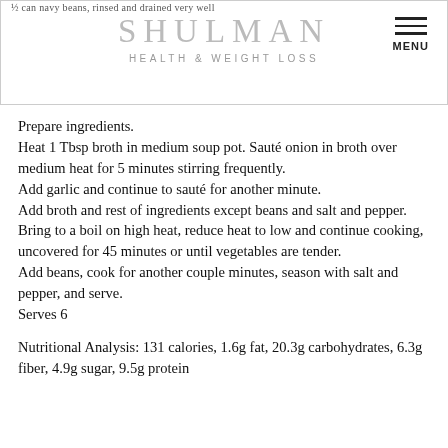½ can navy beans, rinsed and drained very well
Prepare ingredients.
Heat 1 Tbsp broth in medium soup pot. Sauté onion in broth over medium heat for 5 minutes stirring frequently.
Add garlic and continue to sauté for another minute.
Add broth and rest of ingredients except beans and salt and pepper.
Bring to a boil on high heat, reduce heat to low and continue cooking, uncovered for 45 minutes or until vegetables are tender.
Add beans, cook for another couple minutes, season with salt and pepper, and serve.
Serves 6
Nutritional Analysis: 131 calories, 1.6g fat, 20.3g carbohydrates, 6.3g fiber, 4.9g sugar, 9.5g protein